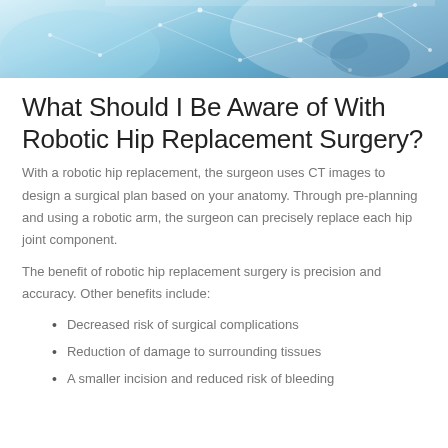[Figure (photo): Medical/robotic surgery themed banner photo with blue tones, showing surgical gloves and network/technology overlay graphics]
What Should I Be Aware of With Robotic Hip Replacement Surgery?
With a robotic hip replacement, the surgeon uses CT images to design a surgical plan based on your anatomy. Through pre-planning and using a robotic arm, the surgeon can precisely replace each hip joint component.
The benefit of robotic hip replacement surgery is precision and accuracy. Other benefits include:
Decreased risk of surgical complications
Reduction of damage to surrounding tissues
A smaller incision and reduced risk of bleeding